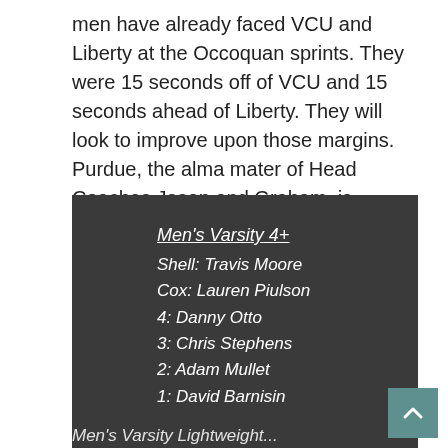men have already faced VCU and Liberty at the Occoquan sprints. They were 15 seconds off of VCU and 15 seconds ahead of Liberty. They will look to improve upon those margins. Purdue, the alma mater of Head Coaches Jason and Graham, is always a threat at SIRAs and should also boast a fast crew in this event.
Men's Varsity 4+
Shell: Travis Moore
Cox: Lauren Piulson
4: Danny Otto
3: Chris Stephens
2: Adam Mullet
1: David Barnisin